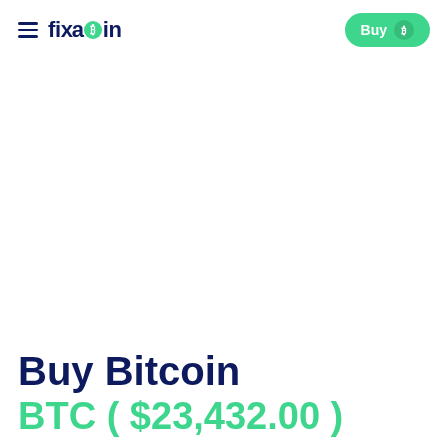fixacoin — Buy Bitcoin
Buy Bitcoin
BTC ( $23,432.00 )